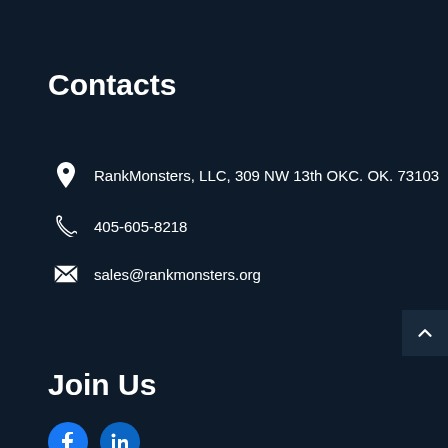Contacts
RankMonsters, LLC, 309 NW 13th OKC. OK. 73103
405-605-8218
sales@rankmonsters.org
Join Us